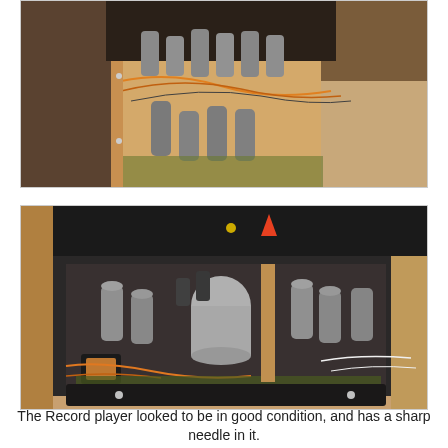[Figure (photo): Interior view of an old record player showing electronic components, vacuum tubes, wiring and mechanical parts from above/side angle.]
[Figure (photo): Close-up interior view of record player internals showing cylindrical capacitors, vacuum tubes, copper coils, circuit boards and wiring inside a wooden cabinet with black metal chassis.]
The Record player looked to be in good condition, and has a sharp needle in it.